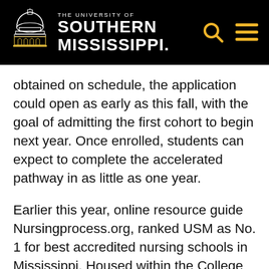THE UNIVERSITY OF SOUTHERN MISSISSIPPI
obtained on schedule, the application could open as early as this fall, with the goal of admitting the first cohort to begin next year. Once enrolled, students can expect to complete the accelerated pathway in as little as one year.
Earlier this year, online resource guide Nursingprocess.org, ranked USM as No. 1 for best accredited nursing schools in Mississippi. Housed within the College of Nursing and Health Professions, the nursing program has continued to raise the bar for